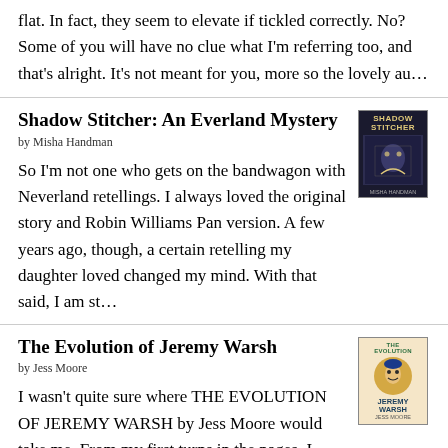flat. In fact, they seem to elevate if tickled correctly. No? Some of you will have no clue what I'm referring too, and that's alright. It's not meant for you, more so the lovely au...
Shadow Stitcher: An Everland Mystery
by Misha Handman
[Figure (illustration): Book cover of Shadow Stitcher: An Everland Mystery, dark blue cover with gold title text]
So I'm not one who gets on the bandwagon with Neverland retellings. I always loved the original story and Robin Williams Pan version. A few years ago, though, a certain retelling my daughter loved changed my mind. With that said, I am st...
The Evolution of Jeremy Warsh
by Jess Moore
[Figure (illustration): Book cover of The Evolution of Jeremy Warsh, light beige cover with illustrated face and green and blue text]
I wasn't quite sure where THE EVOLUTION OF JEREMY WARSH by Jess Moore would take me. From my first turns in the pages, I found a decade I knew, a character lost to his own self, and the unfolding life of so many realities of the